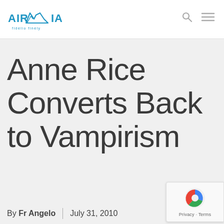Airmaria header with logo and navigation icons
Anne Rice Converts Back to Vampirism
By Fr Angelo | July 31, 2010